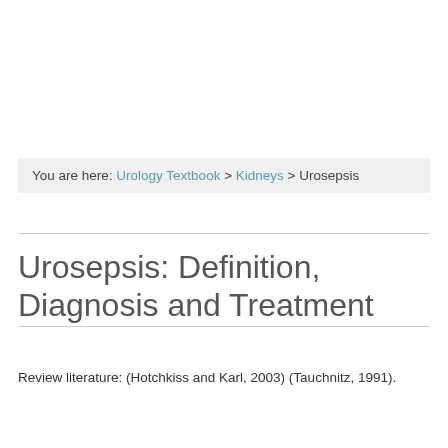You are here: Urology Textbook > Kidneys > Urosepsis
Urosepsis: Definition, Diagnosis and Treatment
Review literature: (Hotchkiss and Karl, 2003) (Tauchnitz, 1991).